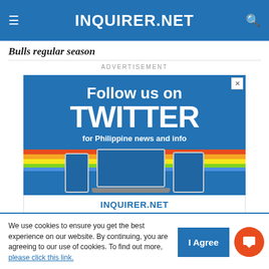INQUIRER.NET
Bulls regular season
ADVERTISEMENT
[Figure (screenshot): Advertisement banner: Follow us on TWITTER for Philippine news and info, featuring devices showing Inquirer.net Twitter page. Bottom reads INQUIRER.NET.]
We use cookies to ensure you get the best experience on our website. By continuing, you are agreeing to our use of cookies. To find out more, please click this link.